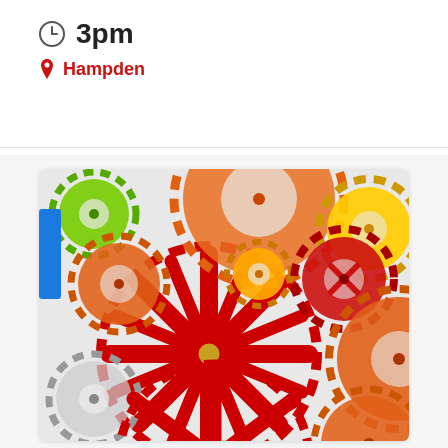3pm
Hampden
[Figure (illustration): Colorful interlocking gears illustration with large red gear in center, surrounded by orange, yellow, green, and other colored gears on a light background.]